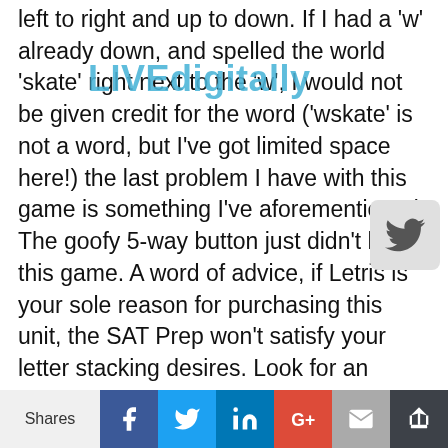left to right and up to down. If I had a 'w' already down, and spelled the world 'skate' right next to the 'w', I would not be given credit for the word ('wskate' is not a word, but I've got limited space here!) the last problem I have with this game is something I've aforementioned. The goofy 5-way button just didn't help this game. A word of advice, if Letris is your sole reason for purchasing this unit, the SAT Prep won't satisfy your letter stacking desires. Look for an online Letris game or something of the sort.
[Figure (photo): A handheld electronic device (likely a PDA or educational game unit) showing a grid game on its screen. The device is grey with buttons on the left side and a circular navigation button on the right.]
Word Dozer was a bit better. You are a bulldozer. Slowly, letters appear and your objective: pushing/pulling letters into formations of
Shares | Facebook | Twitter | LinkedIn | Google+ | Email | Crown